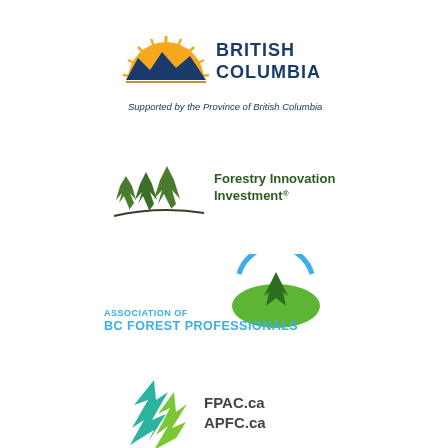[Figure (logo): British Columbia provincial government logo with sun and mountains icon, text 'BRITISH COLUMBIA' and tagline 'Supported by the Province of British Columbia']
[Figure (logo): Forestry Innovation Investment logo with three green conifer trees on a hill]
[Figure (logo): Association of BC Forest Professionals logo with green hill and blue circle arc, text 'ASSOCIATION OF BC FOREST PROFESSIONALS']
[Figure (logo): FPAC.ca / APFC.ca logo with stylized green and teal leaf/tree graphic and text 'FPAC.ca APFC.ca']